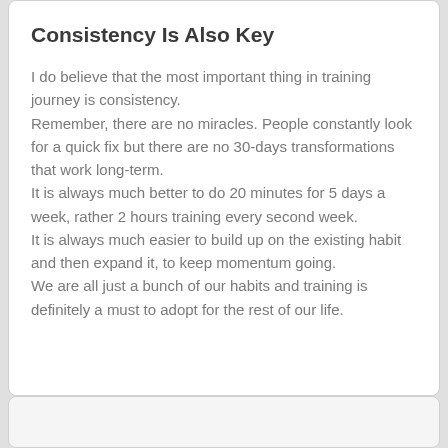Consistency Is Also Key
I do believe that the most important thing in training journey is consistency.
Remember, there are no miracles. People constantly look for a quick fix but there are no 30-days transformations that work long-term.
It is always much better to do 20 minutes for 5 days a week, rather 2 hours training every second week.
It is always much easier to build up on the existing habit and then expand it, to keep momentum going.
We are all just a bunch of our habits and training is definitely a must to adopt for the rest of our life.